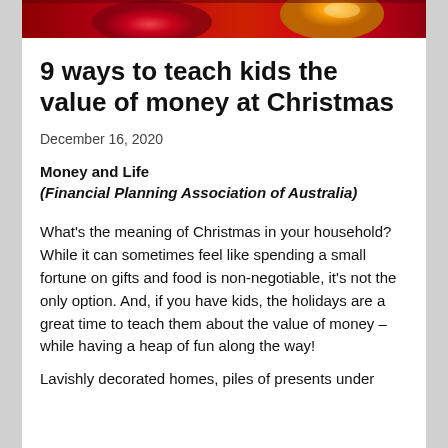[Figure (photo): Partial Christmas-themed hero image showing red and gold decorations at top of page]
9 ways to teach kids the value of money at Christmas
December 16, 2020
Money and Life
(Financial Planning Association of Australia)
What's the meaning of Christmas in your household? While it can sometimes feel like spending a small fortune on gifts and food is non-negotiable, it's not the only option. And, if you have kids, the holidays are a great time to teach them about the value of money – while having a heap of fun along the way!
Lavishly decorated homes, piles of presents under